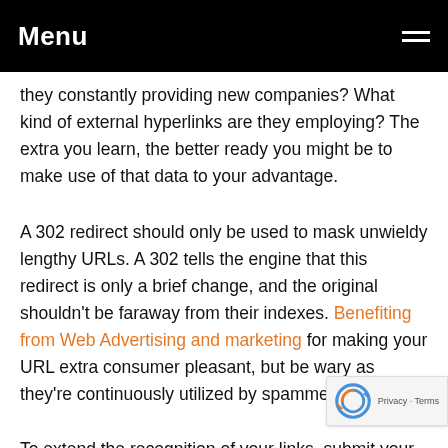Menu
they constantly providing new companies? What kind of external hyperlinks are they employing? The extra you learn, the better ready you might be to make use of that data to your advantage.
A 302 redirect should only be used to mask unwieldy lengthy URLs. A 302 tells the engine that this redirect is only a brief change, and the original shouldn't be faraway from their indexes. Benefiting from Web Advertising and marketing for making your URL extra consumer pleasant, but be wary as they're continuously utilized by spammers.
To extend the recognition of your links, submit your web